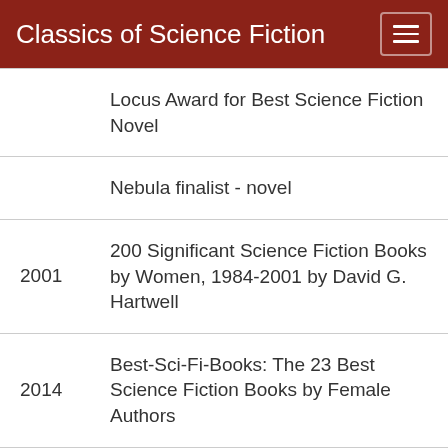Classics of Science Fiction
Locus Award for Best Science Fiction Novel
Nebula finalist - novel
2001 — 200 Significant Science Fiction Books by Women, 1984-2001 by David G. Hartwell
2014 — Best-Sci-Fi-Books: The 23 Best Science Fiction Books by Female Authors
2016 — Goodreads Best Science Fiction & Fantasy 200